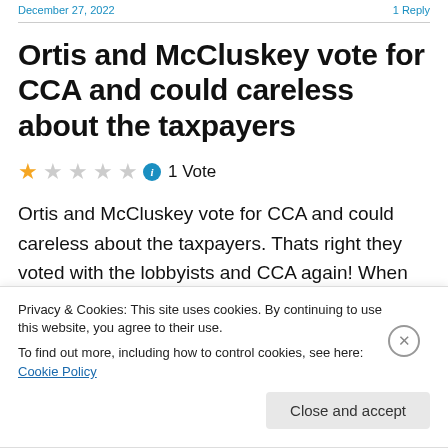December 27, 2022   1 Reply
Ortis and McCluskey vote for CCA and could careless about the taxpayers
1 Vote
Ortis and McCluskey vote for CCA and could careless about the taxpayers. Thats right they voted with the lobbyists and CCA again! When will they start caring about
Privacy & Cookies: This site uses cookies. By continuing to use this website, you agree to their use. To find out more, including how to control cookies, see here: Cookie Policy